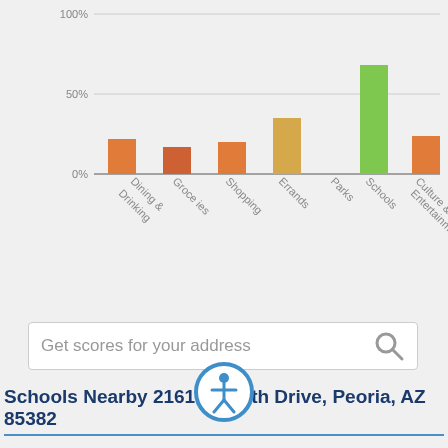[Figure (bar-chart): Category scores]
Get scores for your address
Schools Nearby 21618 N 89th Drive, Peoria, AZ 85382
[Figure (illustration): Accessibility icon - blue circle with a person figure inside]